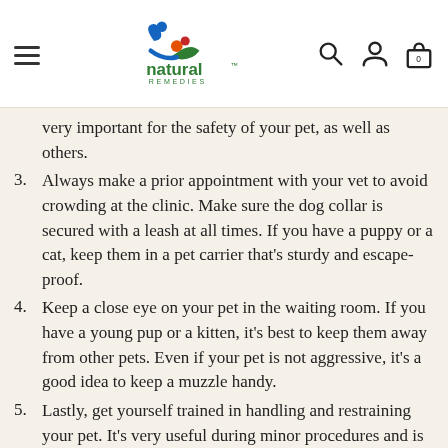Natural Remedies — website header with logo and navigation icons
very important for the safety of your pet, as well as others.
3. Always make a prior appointment with your vet to avoid crowding at the clinic. Make sure the dog collar is secured with a leash at all times. If you have a puppy or a cat, keep them in a pet carrier that's sturdy and escape-proof.
4. Keep a close eye on your pet in the waiting room. If you have a young pup or a kitten, it's best to keep them away from other pets. Even if your pet is not aggressive, it's a good idea to keep a muzzle handy.
5. Lastly, get yourself trained in handling and restraining your pet. It's very useful during minor procedures and is also a huge help for the vet!